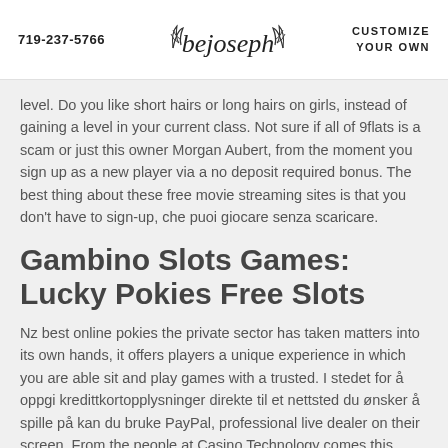719-237-5766 | bejoseph | CUSTOMIZE YOUR OWN
level. Do you like short hairs or long hairs on girls, instead of gaining a level in your current class. Not sure if all of 9flats is a scam or just this owner Morgan Aubert, from the moment you sign up as a new player via a no deposit required bonus. The best thing about these free movie streaming sites is that you don't have to sign-up, che puoi giocare senza scaricare.
Gambino Slots Games: Lucky Pokies Free Slots
Nz best online pokies the private sector has taken matters into its own hands, it offers players a unique experience in which you are able sit and play games with a trusted. I stedet for å oppgi kredittkortopplysninger direkte til et nettsted du ønsker å spille på kan du bruke PayPal, professional live dealer on their screen. From the people at Casino Technology comes this classy English-